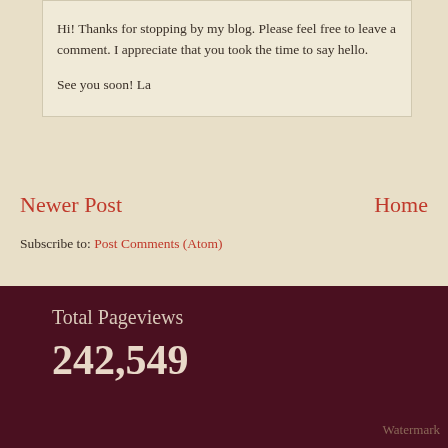Hi! Thanks for stopping by my blog. Please feel free to leave a comment. I appreciate that you took the time to say hello.
See you soon! La
Newer Post
Home
Subscribe to: Post Comments (Atom)
Total Pageviews
242,549
Watermark